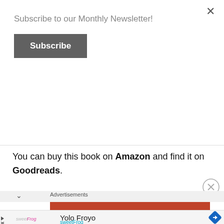×
Subscribe to our Monthly Newsletter!
Subscribe
betrayal, deceit and intense tactical manipulation.
Book Rating: 4.5/5
You can buy this book on Amazon and find it on Goodreads.
[Figure (screenshot): Advertisement section with Advertisements label, orange/red bar, chevron, and close circle button]
[Figure (screenshot): Bottom ad banner showing sweetFrog logo, Yolo Froyo text, sweetFrog text in cyan, and blue navigation diamond icon]